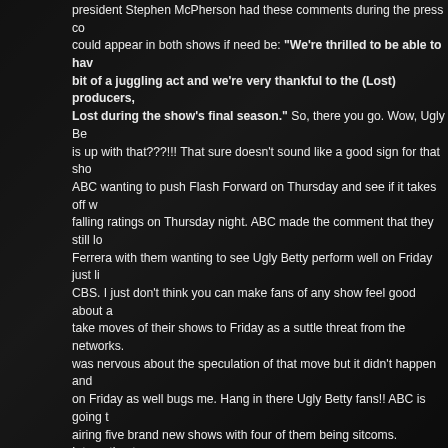president Stephen McPherson had these comments during the press co... could appear in both shows if need be: "We're thrilled to be able to have... bit of a juggling act and we're very thankful to the (Lost) producers,... Lost during the show's final season." So, there you go. Wow, Ugly Be... is up with that???!!! That sure doesn't sound like a good sign for that sho... ABC wanting to push Flash Forward on Thursday and see if it takes off w... falling ratings on Thursday night. ABC made the comment that they still lo... Ferrera with them wanting to see Ugly Betty perform well on Friday just li... CBS. I just don't think you can make fans of any show feel good about a... take moves of their shows to Friday as a suttle threat from the networks.... was nervous about the speculation of that move but it didn't happen and... on Friday as well bugs me. Hang in there Ugly Betty fans!! ABC is going t... airing five brand new shows with four of them being sitcoms. Interesting t... new drama, Happy Town. Amy Acker is on the list. The show premieres a... mean for Amy on Dollhouse? The show also stars Geoff Stults of 7th Hea... Busy Philipps on the new show, Cougar Town. My first thought is that we... on the new upcoming ABC shows.
Returning Shows: Lost, Dancing With The Stars, Castle, Grey's Anatom... Supernanny, Ugly Betty, 20/20, America's Funniest Home Videos, Extrem... Desperate Housewives, Brothers & Sisters, The Bachelor, Scrubs, Better... Swap.
Canceled Shows: Cupid, Samantha Who?, The Unusuals, In The Mothe...